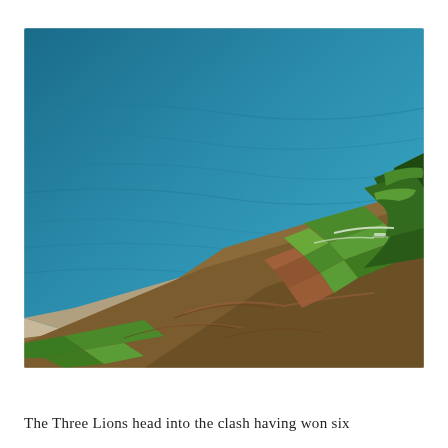[Figure (photo): Aerial photograph of a coastal headland or promontory, showing deep blue-teal ocean water in the upper portion, a curved sandy shoreline/spit, and terraced agricultural fields (green and brown) on hillside land, with dense vegetation on the right side.]
The Three Lions head into the clash having won six